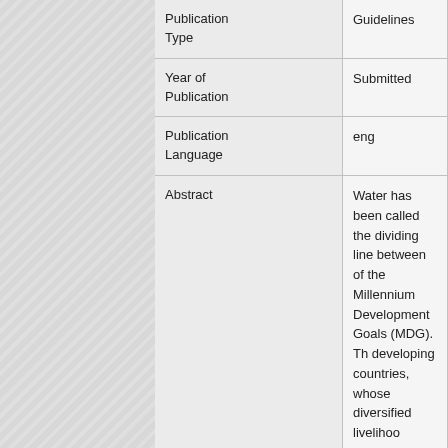| Field | Value |
| --- | --- |
| Publication Type | Guidelines |
| Year of Publication | Submitted |
| Publication Language | eng |
| Abstract | Water has been called the dividing line between of the Millennium Development Goals (MDG). Th developing countries, whose diversified livelihood typically for meeting basic needs (e.g. bathing, d is not usually planned for is made up of those ac advance sustainable livelihoods. This is known a  improvements have been made in water service access to piped water in their dwellings, on site, major challenge. Rural areas also tend to be mor more vulnerable. The development focus of the S condition of the urban and the rural poor. [author |
| URL | http://www.wrc.org.za/Pages/DisplayItem.aspx? |